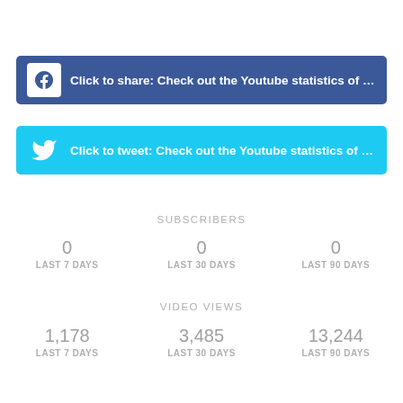Click to share: Check out the Youtube statistics of ابدران/ BA...
Click to tweet: Check out the Youtube statistics of ابدران/ BA...
SUBSCRIBERS
0 LAST 7 DAYS
0 LAST 30 DAYS
0 LAST 90 DAYS
VIDEO VIEWS
1,178 LAST 7 DAYS
3,485 LAST 30 DAYS
13,244 LAST 90 DAYS